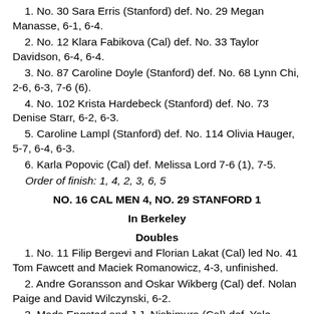1. No. 30 Sara Erris (Stanford) def. No. 29 Megan Manasse, 6-1, 6-4.
2. No. 12 Klara Fabikova (Cal) def. No. 33 Taylor Davidson, 6-4, 6-4.
3. No. 87 Caroline Doyle (Stanford) def. No. 68 Lynn Chi, 2-6, 6-3, 7-6 (6).
4. No. 102 Krista Hardebeck (Stanford) def. No. 73 Denise Starr, 6-2, 6-3.
5. Caroline Lampl (Stanford) def. No. 114 Olivia Hauger, 5-7, 6-4, 6-3.
6. Karla Popovic (Cal) def. Melissa Lord 7-6 (1), 7-5.
Order of finish: 1, 4, 2, 3, 6, 5
NO. 16 CAL MEN 4, NO. 29 STANFORD 1
In Berkeley
Doubles
1. No. 11 Filip Bergevi and Florian Lakat (Cal) led No. 41 Tom Fawcett and Maciek Romanowicz, 4-3, unfinished.
2. Andre Goransson and Oskar Wikberg (Cal) def. Nolan Paige and David Wilczynski, 6-2.
3. Mads Engsted and J.J. Nishimura (Cal) def. Yale Goldberg and Sameer Kumar, 6-1.
Order of finish: 3, 2
Singles